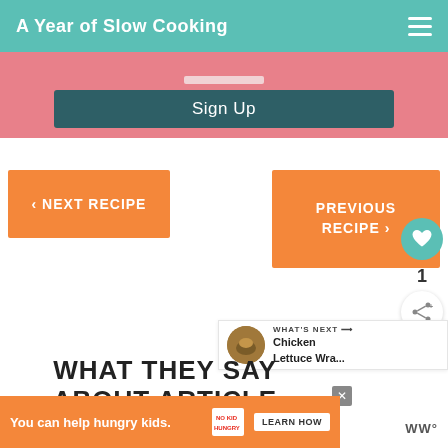A Year of Slow Cooking
Sign Up
‹ NEXT RECIPE
PREVIOUS RECIPE ›
[Figure (other): Heart/favorite button with teal circle, count of 1, and share button]
WHAT'S NEXT → Chicken Lettuce Wra...
WHAT THEY SAY ABOUT ARTICLE
[Figure (other): Advertisement banner: You can help hungry kids. No Kid Hungry. LEARN HOW]